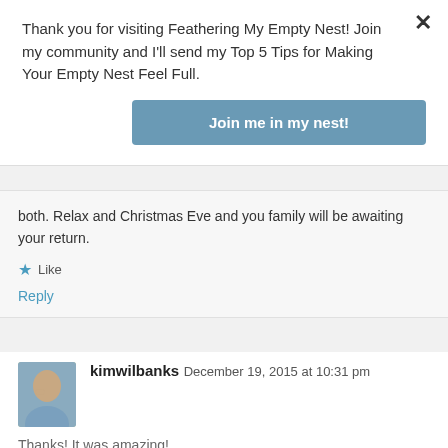Thank you for visiting Feathering My Empty Nest! Join my community and I'll send my Top 5 Tips for Making Your Empty Nest Feel Full.
Join me in my nest!
both. Relax and Christmas Eve and you family will be awaiting your return.
★ Like
Reply
kimwilbanks   December 19, 2015 at 10:31 pm
Thanks! It was amazing!